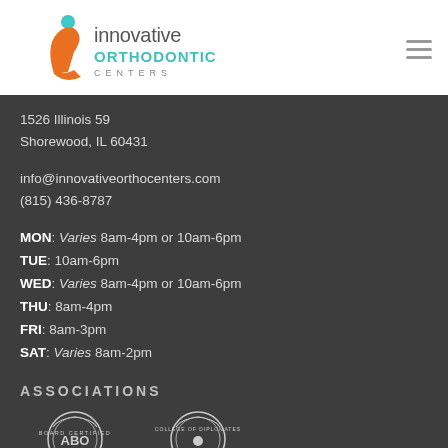[Figure (logo): Innovative Orthodontic Centers logo with orange/teal swoosh icon and text]
1526 Illinois 59
Shorewood, IL 60431
info@innovativeorthocenters.com
(815) 436-8787
MON: Varies 8am-4pm or 10am-6pm
TUE: 10am-6pm
WED: Varies 8am-4pm or 10am-6pm
THU: 8am-4pm
FRI: 8am-3pm
SAT: Varies 8am-2pm
ASSOCIATIONS
[Figure (logo): Board Certified ABO seal (white on dark background)]
[Figure (logo): College of Diplomates seal (white on dark background)]